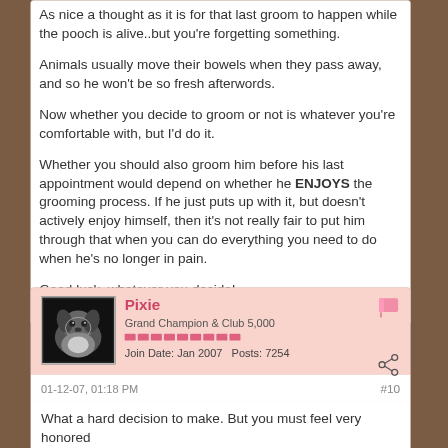As nice a thought as it is for that last groom to happen while the pooch is alive..but you're forgetting something.
Animals usually move their bowels when they pass away, and so he won't be so fresh afterwords.
Now whether you decide to groom or not is whatever you're comfortable with, but I'd do it.
Whether you should also groom him before his last appointment would depend on whether he ENJOYS the grooming process. If he just puts up with it, but doesn't actively enjoy himself, then it's not really fair to put him through that when you can do everything you need to do when he's no longer in pain.
Good luck, whatever you decide!
Pixie
Grand Champion & Club 5,000
Join Date: Jan 2007    Posts: 7254
01-12-07, 01:18 PM
#10
What a hard decision to make. But you must feel very honored